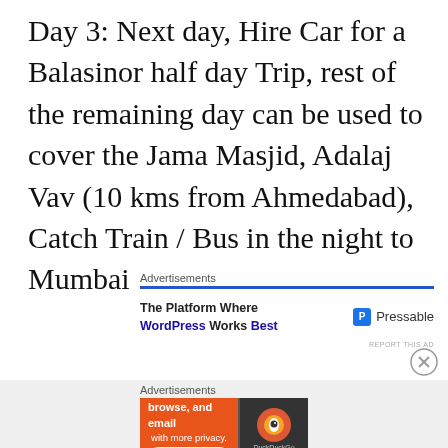Day 3: Next day, Hire Car for a Balasinor half day Trip, rest of the remaining day can be used to cover the Jama Masjid, Adalaj Vav (10 kms from Ahmedabad), Catch Train / Bus in the night to Mumbai
[Figure (screenshot): Advertisement banner for Pressable WordPress hosting with blue header line, text 'The Platform Where WordPress Works Best' and Pressable logo]
[Figure (screenshot): Advertisement banner for DuckDuckGo app with orange background, text 'Search, browse, and email with more privacy. All in One Free App' and DuckDuckGo logo on dark background]